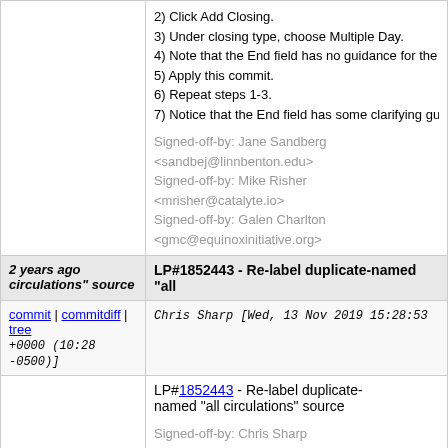2) Click Add Closing.
3) Under closing type, choose Multiple Day.
4) Note that the End field has no guidance for the
5) Apply this commit.
6) Repeat steps 1-3.
7) Notice that the End field has some clarifying gu
Signed-off-by: Jane Sandberg <sandbej@linnbenton.edu>
Signed-off-by: Mike Risher <mrisher@catalyte.io>
Signed-off-by: Galen Charlton <gmc@equinoxinitiative.org>
2 years ago circulations" source
LP#1852443 - Re-label duplicate-named "all
commit | commitdiff | tree
Chris Sharp [Wed, 13 Nov 2019 15:28:53 +0000 (10:28 -0500)]
LP#1852443 - Re-label duplicate-named "all circulations" source
Signed-off-by: Chris Sharp <csharp@georgialibraries.org>
Signed-off-by: Rogan Hamby <rogan.hamby@gmail.com>
Signed-off-by: Jane Sandberg <sandbej@linnbenton.edu>
2 years ago   LP1747542: Stamp upgrade script